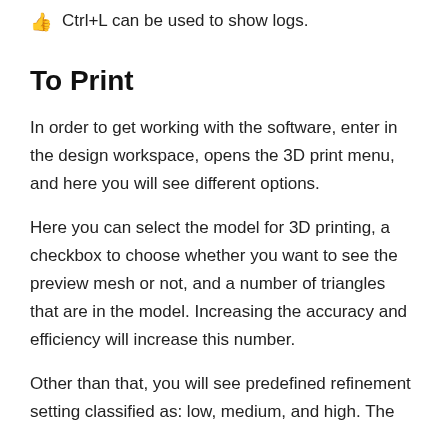Ctrl+L can be used to show logs.
To Print
In order to get working with the software, enter in the design workspace, opens the 3D print menu, and here you will see different options.
Here you can select the model for 3D printing, a checkbox to choose whether you want to see the preview mesh or not, and a number of triangles that are in the model. Increasing the accuracy and efficiency will increase this number.
Other than that, you will see predefined refinement setting classified as: low, medium, and high. The